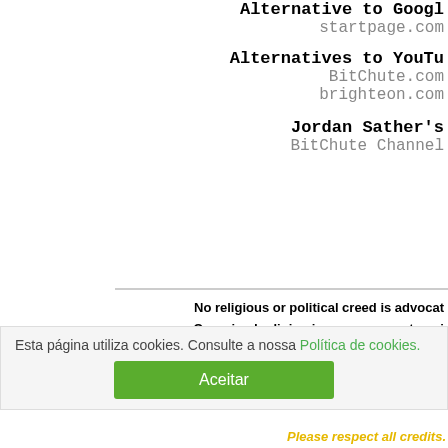Alternative to Google
startpage.com
Alternatives to YouTube
BitChute.com
brighteon.com
Jordan Sather's
BitChute Channel
No religious or political creed is advocat
Organised religion is unnecessary to spi
Excellent teachings of the masters have been contaminated by the c
Discernment yes; judgement does n
If you use discernment you are free to research wi
Please respect all credits.
Esta página utiliza cookies. Consulte a nossa Política de cookies.
Aceitar